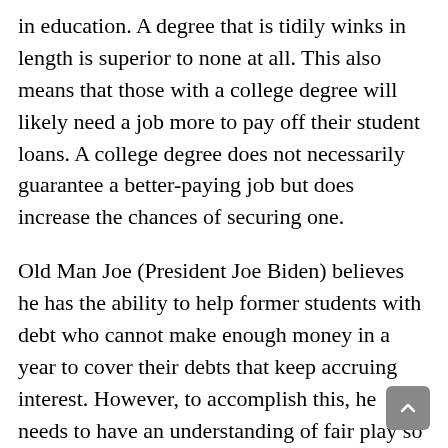in education. A degree that is tidily winks in length is superior to none at all. This also means that those with a college degree will likely need a job more to pay off their student loans. A college degree does not necessarily guarantee a better-paying job but does increase the chances of securing one.
Old Man Joe (President Joe Biden) believes he has the ability to help former students with debt who cannot make enough money in a year to cover their debts that keep accruing interest. However, to accomplish this, he needs to have an understanding of fair play so that he won't be a jerk to the vast majority of graduates who don't require the funds. It's a difficult dilemma, and one that Biden would have done better to leave to its own devices. The